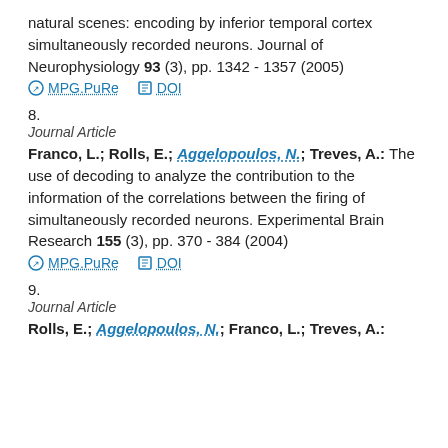natural scenes: encoding by inferior temporal cortex simultaneously recorded neurons. Journal of Neurophysiology 93 (3), pp. 1342 - 1357 (2005)
MPG.PuRe   DOI
8.
Journal Article
Franco, L.; Rolls, E.; Aggelopoulos, N.; Treves, A.: The use of decoding to analyze the contribution to the information of the correlations between the firing of simultaneously recorded neurons. Experimental Brain Research 155 (3), pp. 370 - 384 (2004)
MPG.PuRe   DOI
9.
Journal Article
Rolls, E.; Aggelopoulos, N.; Franco, L.; Treves, A.: